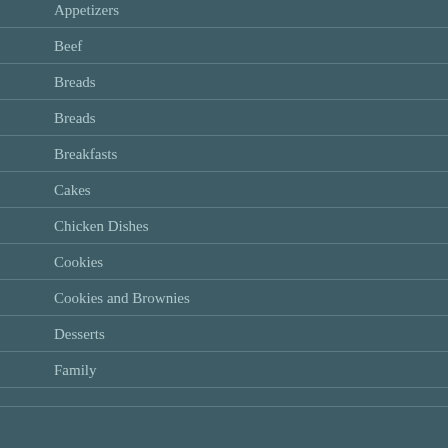Appetizers
Beef
Breads
Breads
Breakfasts
Cakes
Chicken Dishes
Cookies
Cookies and Brownies
Desserts
Family